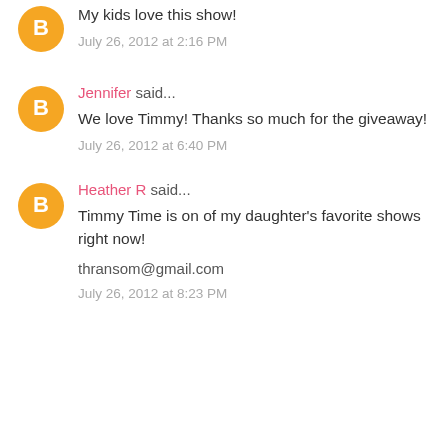My kids love this show!
July 26, 2012 at 2:16 PM
Jennifer said...
We love Timmy! Thanks so much for the giveaway!
July 26, 2012 at 6:40 PM
Heather R said...
Timmy Time is on of my daughter's favorite shows right now!
thransom@gmail.com
July 26, 2012 at 8:23 PM